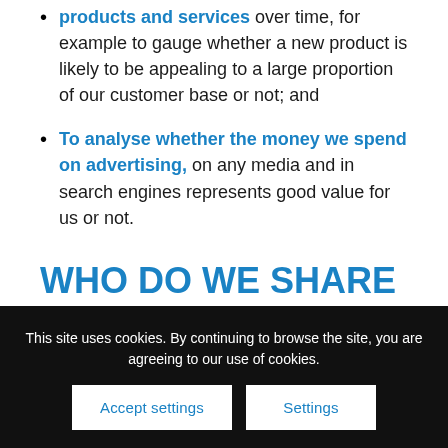products and services over time, for example to gauge whether a new product is likely to be appealing to a large proportion of our customer base or not; and
To analyse whether the money we spend on advertising, on any media and in search engines represents good value for us or not.
WHO DO WE SHARE YOUR INFORMATION
This site uses cookies. By continuing to browse the site, you are agreeing to our use of cookies.